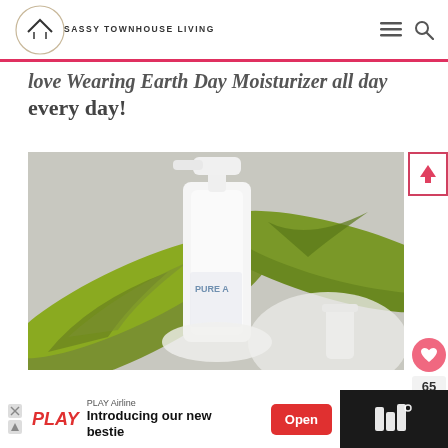SASSY TOWNHOUSE LIVING
love Wearing Earth Day Moisturizer all day every day!
[Figure (photo): Close-up photo of a white pump bottle skincare product (moisturizer) against a background of green fern leaves and a white bowl. The bottle label partially shows 'PURE A'.]
[Figure (other): Advertisement banner: PLAY Airline - 'Introducing our new bestie' with an 'Open' button]